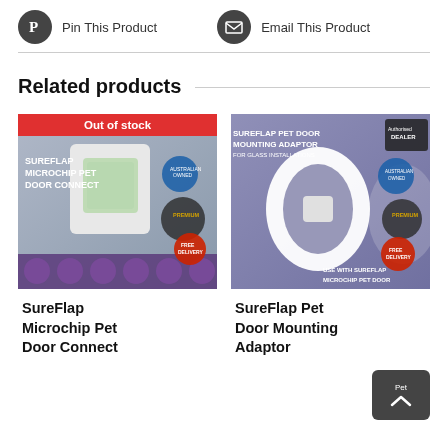Pin This Product
Email This Product
Related products
[Figure (photo): SureFlap Microchip Pet Door Connect product box image with Out of Stock overlay]
SureFlap Microchip Pet Door Connect
[Figure (photo): SureFlap Pet Door Mounting Adaptor for Glass Installations product box image]
SureFlap Pet Door Mounting Adaptor